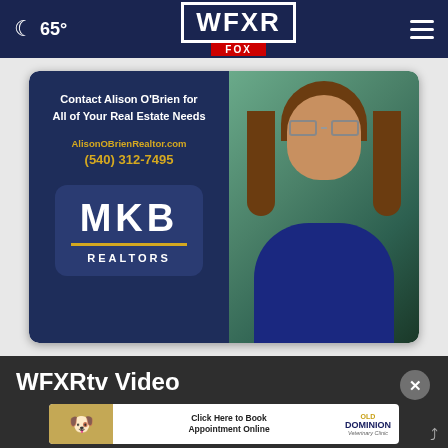🌙 65° | WFXR FOX
[Figure (photo): Advertisement for Alison O'Brien Realtor with MKB Realtors. Left side shows dark navy background with text: Contact Alison O'Brien for All of Your Real Estate Needs, AlisonOBrienRealtor.com, (540) 312-7495, and MKB REALTORS logo. Right side shows photo of woman with brown hair and glasses in blue outfit with arms crossed.]
WFXRtv Video
[Figure (photo): Advertisement for Old Dominion Veterinary Clinic with pets image and text: Click Here to Book Appointment Online, Old Dominion Veterinary Clinic]